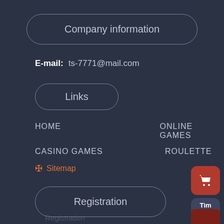Company information
E-mail:  ts-7771@mail.com
Links
HOME
ONLINE GAMES
CASINO GAMES
ROULETTE
Sitemap
Registration